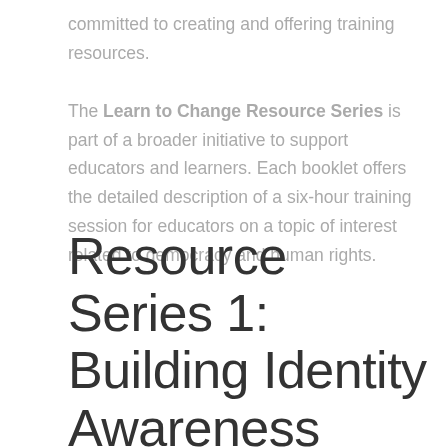committed to creating and offering training resources. The Learn to Change Resource Series is part of a broader initiative to support educators and learners. Each booklet offers the detailed description of a six-hour training session for educators on a topic of interest related to democracy and human rights.
Resource Series 1: Building Identity Awareness The Dynamic Nature of